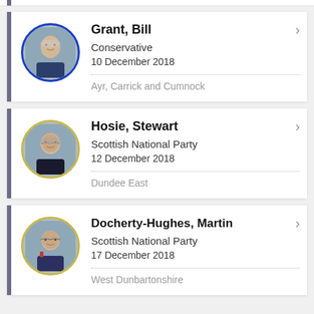Grant, Bill | Conservative | 10 December 2018 | Ayr, Carrick and Cumnock
Hosie, Stewart | Scottish National Party | 12 December 2018 | Dundee East
Docherty-Hughes, Martin | Scottish National Party | 17 December 2018 | West Dunbartonshire